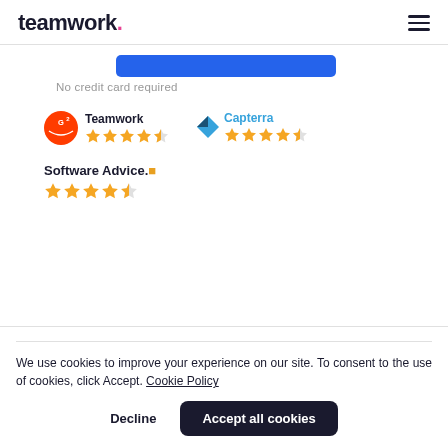teamwork.
[Figure (other): Blue button bar (call to action button, cropped)]
No credit card required
[Figure (logo): G2 logo with Teamwork label and 4.5-star rating]
[Figure (logo): Capterra logo with 4.5-star rating]
[Figure (logo): Software Advice logo with 4.5-star rating]
We use cookies to improve your experience on our site. To consent to the use of cookies, click Accept. Cookie Policy
Decline
Accept all cookies